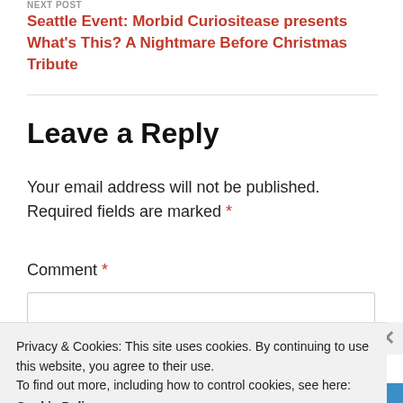NEXT POST
Seattle Event: Morbid Curiositease presents What's This? A Nightmare Before Christmas Tribute
Leave a Reply
Your email address will not be published. Required fields are marked *
Comment *
Privacy & Cookies: This site uses cookies. By continuing to use this website, you agree to their use.
To find out more, including how to control cookies, see here:
Cookie Policy
Close and accept